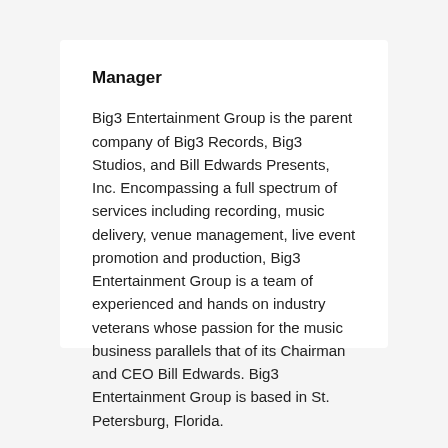Manager
Big3 Entertainment Group is the parent company of Big3 Records, Big3 Studios, and Bill Edwards Presents, Inc. Encompassing a full spectrum of services including recording, music delivery, venue management, live event promotion and production, Big3 Entertainment Group is a team of experienced and hands on industry veterans whose passion for the music business parallels that of its Chairman and CEO Bill Edwards. Big3 Entertainment Group is based in St. Petersburg, Florida.